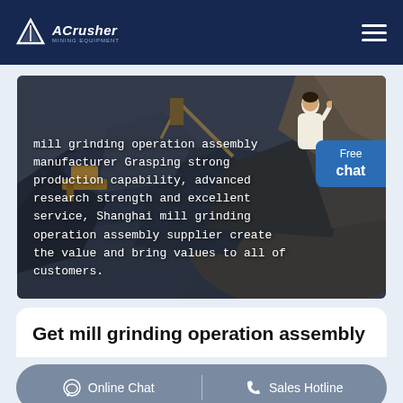ACrusher
[Figure (photo): Aerial view of an open-pit mining operation with heavy machinery, dark rocky terrain, and earth-moving equipment. Text overlay reads: mill grinding operation assembly manufacturer Grasping strong production capability, advanced research strength and excellent service, Shanghai mill grinding operation assembly supplier create the value and bring values to all of customers.]
Get mill grinding operation assembly
Online Chat | Sales Hotline